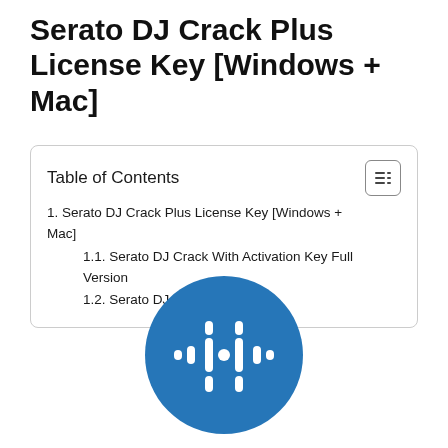Serato DJ Crack Plus License Key [Windows + Mac]
| Table of Contents |
| 1. Serato DJ Crack Plus License Key [Windows + Mac] |
| 1.1. Serato DJ Crack With Activation Key Full Version |
| 1.2. Serato DJ Key Features |
[Figure (logo): Serato DJ circular blue logo with white waveform/equalizer icon in the center]